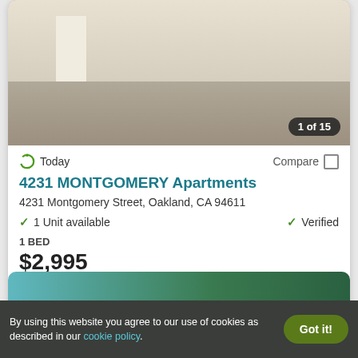[Figure (photo): Interior photo of an empty apartment room with laminate flooring and white walls, showing '1 of 15' badge]
Today
Compare
4231 MONTGOMERY Apartments
4231 Montgomery Street, Oakland, CA 94611
1 Unit available
Verified
1 BED
$2,995
View Details
Contact Property
By using this website you agree to our use of cookies as described in our cookie policy.
Got it!